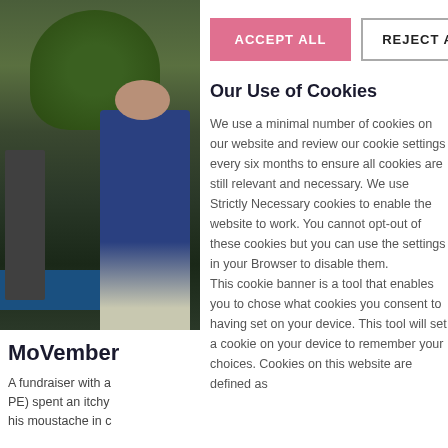[Figure (photo): A person in a blue jacket at an event with plants and a table in the background]
MoVember
A fundraiser with a PE) spent an itchy his moustache in c
ACCEPT ALL
REJECT ALL
Our Use of Cookies
We use a minimal number of cookies on our website and review our cookie settings every six months to ensure all cookies are still relevant and necessary. We use Strictly Necessary cookies to enable the website to work. You cannot opt-out of these cookies but you can use the settings in your Browser to disable them.
This cookie banner is a tool that enables you to chose what cookies you consent to having set on your device. This tool will set a cookie on your device to remember your choices. Cookies on this website are defined as